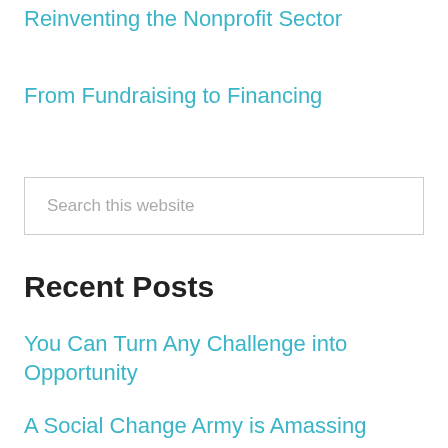Reinventing the Nonprofit Sector
From Fundraising to Financing
Search this website
Recent Posts
You Can Turn Any Challenge into Opportunity
A Social Change Army is Amassing